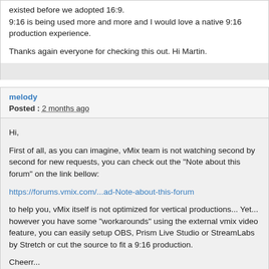existed before we adopted 16:9.
9:16 is being used more and more and I would love a native 9:16 production experience.
Thanks again everyone for checking this out. Hi Martin.
melody
Posted : 2 months ago
Hi,
First of all, as you can imagine, vMix team is not watching second by second for new requests, you can check out the "Note about this forum" on the link bellow:
https://forums.vmix.com/...ad-Note-about-this-forum
to help you, vMix itself is not optimized for vertical productions... Yet... however you have some "workarounds" using the external vmix video feature, you can easily setup OBS, Prism Live Studio or StreamLabs by Stretch or cut the source to fit a 9:16 production.
Cheerr...